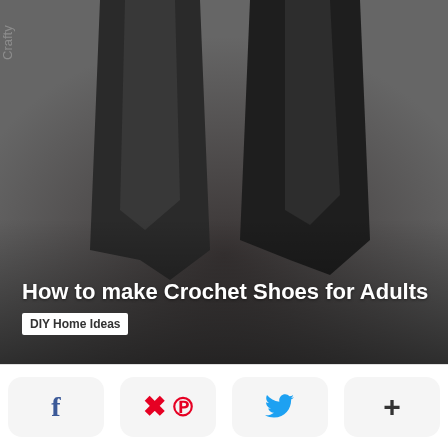[Figure (photo): Dark/moody image of feet wearing black socks or boots against a dark background, with a watermark in the upper left. Overlaid with the title 'How to make Crochet Shoes for Adults' in white bold text and a white tag label 'DIY Home Ideas' below it.]
How to make Crochet Shoes for Adults
DIY Home Ideas